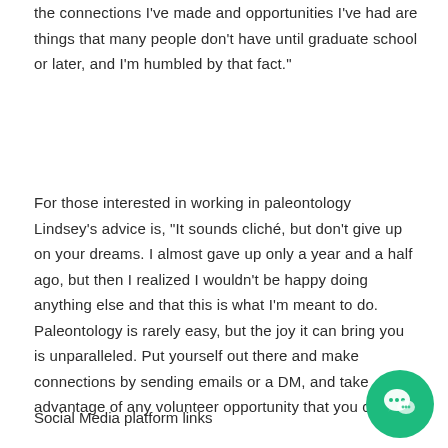the connections I've made and opportunities I've had are things that many people don't have until graduate school or later, and I'm humbled by that fact."
For those interested in working in paleontology Lindsey's advice is, "It sounds cliché, but don't give up on your dreams. I almost gave up only a year and a half ago, but then I realized I wouldn't be happy doing anything else and that this is what I'm meant to do. Paleontology is rarely easy, but the joy it can bring you is unparalleled. Put yourself out there and make connections by sending emails or a DM, and take advantage of any volunteer opportunity that you can!"
Social Media platform links